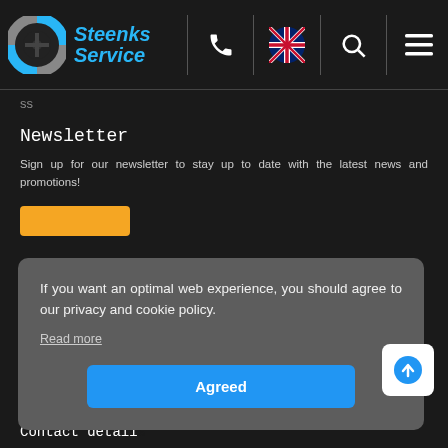Steenks Service — navigation header with logo, phone, UK flag, search, and menu icons
Newsletter
Sign up for our newsletter to stay up to date with the latest news and promotions!
If you want an optimal web experience, you should agree to our privacy and cookie policy.
Read more
Agreed
Contact details